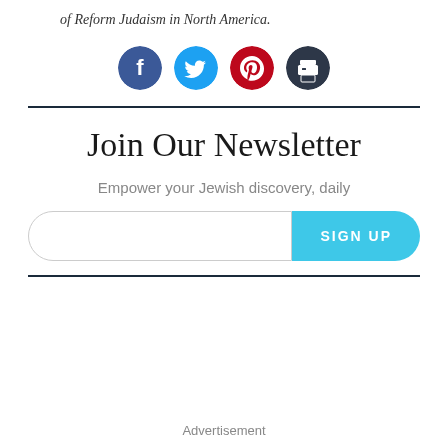of Reform Judaism in North America.
[Figure (infographic): Four social sharing icons in circles: Facebook (dark blue), Twitter (light blue), Pinterest (red), Print (dark gray)]
Join Our Newsletter
Empower your Jewish discovery, daily
[Figure (other): Email signup form with text input and SIGN UP button]
Advertisement